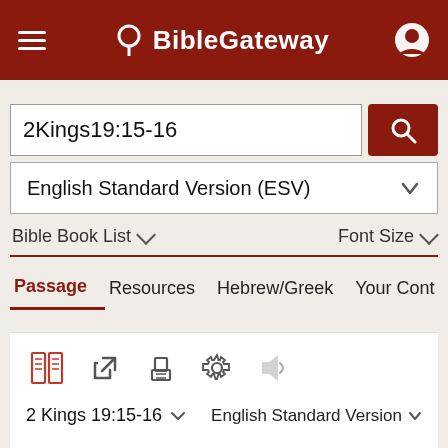BibleGateway
2Kings19:15-16
English Standard Version (ESV)
Bible Book List   Font Size
Passage   Resources   Hebrew/Greek   Your Cont
[Figure (screenshot): Toolbar icons: parallel passages, external link, print, settings, audio]
2 Kings 19:15-16   English Standard Version